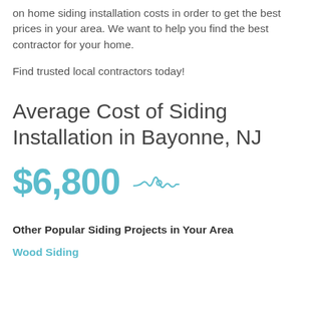on home siding installation costs in order to get the best prices in your area. We want to help you find the best contractor for your home.
Find trusted local contractors today!
Average Cost of Siding Installation in Bayonne, NJ
$6,800
Other Popular Siding Projects in Your Area
Wood Siding